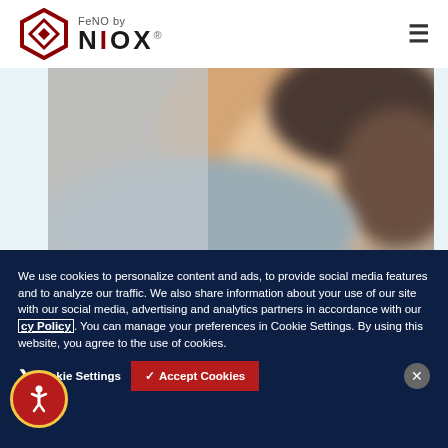[Figure (logo): FeNO by NIOX logo with hexagonal red geometric shape and NIOX text in dark with registered trademark]
[Figure (photo): Close-up blurred photo of a person's shoulder and neck area, side view]
We use cookies to personalize content and ads, to provide social media features and to analyze our traffic. We also share information about your use of our site with our social media, advertising and analytics partners in accordance with our Privacy Policy. You can manage your preferences in Cookie Settings. By using this website, you agree to the use of cookies.
Cookie Settings
Accept Cookies